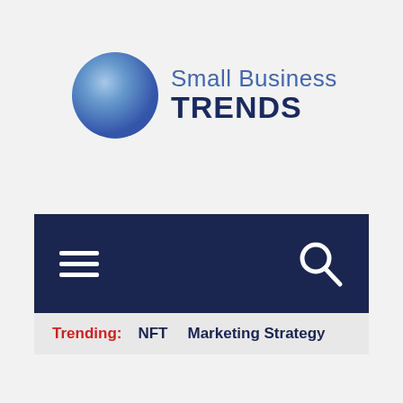[Figure (logo): Small Business Trends logo with a blue gradient circle on the left and 'Small Business TRENDS' text on the right, where 'Small Business' is in a lighter blue and 'TRENDS' is bold dark navy blue]
[Figure (screenshot): Dark navy blue navigation bar with a hamburger menu icon (three horizontal white lines) on the left and a white magnifying glass search icon on the right]
Trending:  NFT  Marketing Strategy